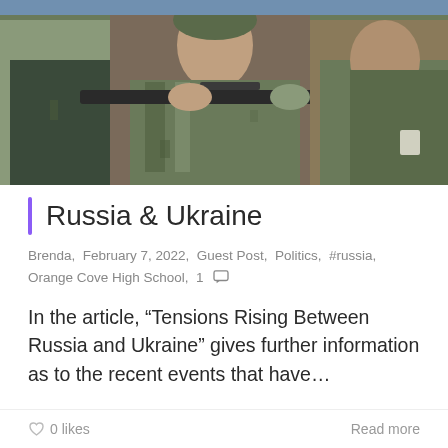[Figure (photo): Military soldiers in camouflage gear, one aiming a rifle, photographed outdoors in daylight]
Russia & Ukraine
Brenda, February 7, 2022, Guest Post, Politics, #russia, Orange Cove High School, 1 [comment icon]
In the article, “Tensions Rising Between Russia and Ukraine” gives further information as to the recent events that have…
0 likes
Read more